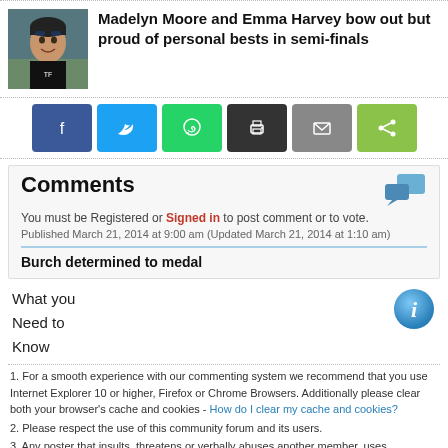Madelyn Moore and Emma Harvey bow out but proud of personal bests in semi-finals
[Figure (photo): Photo of a female swimmer at a competition, smiling, wearing a black swimsuit]
You must be Registered or Signed in to post comment or to vote.
Published March 21, 2014 at 9:00 am (Updated March 21, 2014 at 1:10 am)
Burch determined to medal
What you
Need to
Know
1. For a smooth experience with our commenting system we recommend that you use Internet Explorer 10 or higher, Firefox or Chrome Browsers. Additionally please clear both your browser's cache and cookies - How do I clear my cache and cookies?
2. Please respect the use of this community forum and its users.
3. Any poster that insults, threatens or verbally abuses another member, uses defamatory language, or deliberately disrupts discussions will be banned.